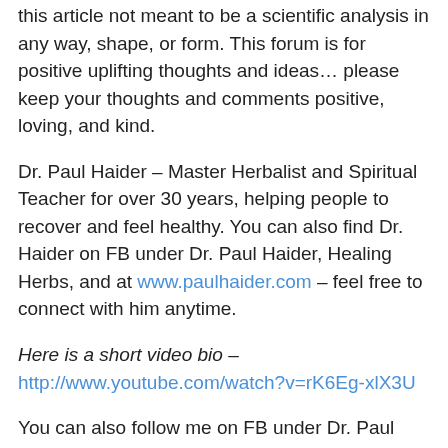this article not meant to be a scientific analysis in any way, shape, or form. This forum is for positive uplifting thoughts and ideas… please keep your thoughts and comments positive, loving, and kind.
Dr. Paul Haider – Master Herbalist and Spiritual Teacher for over 30 years, helping people to recover and feel healthy. You can also find Dr. Haider on FB under Dr. Paul Haider, Healing Herbs, and at www.paulhaider.com – feel free to connect with him anytime.
Here is a short video bio – http://www.youtube.com/watch?v=rK6Eg-xlX3U
You can also follow me on FB under Dr. Paul Haider
All quick questions of free of charge— I ask for a donation for consults – Feel Free to Contact me, I love talking with